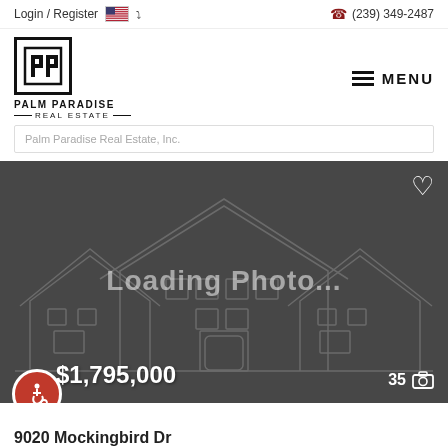Login / Register  🇺🇸 ∨    📞 (239) 349-2487
[Figure (logo): Palm Paradise Real Estate logo with stylized P letters in a box]
MENU
Palm Paradise Real Estate, Inc.
[Figure (photo): Loading Photo... placeholder showing house outline on dark background]
$1,795,000
35 📷
9020 Mockingbird Dr